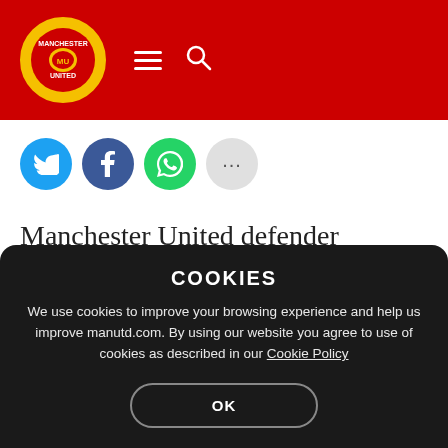[Figure (logo): Manchester United red header navigation bar with club crest logo, hamburger menu icon, and search icon]
[Figure (infographic): Social sharing buttons row: Twitter (blue bird), Facebook (blue f), WhatsApp (green phone), and more (grey dots)]
Manchester United defender Brandon Williams has signed a new long-term contract with the club.
COOKIES
We use cookies to improve your browsing experience and help us improve manutd.com. By using our website you agree to use of cookies as described in our Cookie Policy
OK